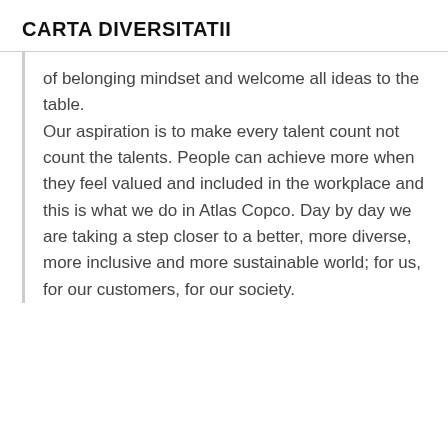CARTA DIVERSITATII
of belonging mindset and welcome all ideas to the table.
Our aspiration is to make every talent count not count the talents. People can achieve more when they feel valued and included in the workplace and this is what we do in Atlas Copco. Day by day we are taking a step closer to a better, more diverse, more inclusive and more sustainable world; for us, for our customers, for our society.